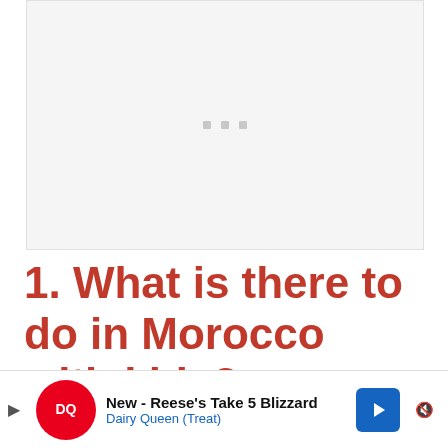[Figure (photo): Large image placeholder area with light gray background and three small gray square dots centered, indicating an image loading or placeholder state]
1. What is there to do in Morocco with kids?
READ: Ten things to to do in Morocco with kids
[Figure (other): Advertisement banner for Dairy Queen featuring DQ logo, text 'New - Reese's Take 5 Blizzard', 'Dairy Queen (Treat)', a blue navigation arrow icon, and a mute/sound button]